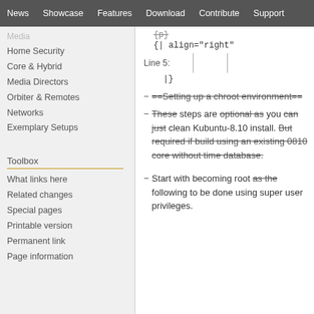News | Showcase | Features | Download | Contribute | Support
Media
Home Security
Core & Hybrid
Media Directors
Orbiter & Remotes
Networks
Exemplary Setups
Toolbox
What links here
Related changes
Special pages
Printable version
Permanent link
Page information
{| align="right"
Line 5:
|}
- ==Setting up a chroot environment==
- These steps are optional as you can just clean Kubuntu-8.10 install. But required if build using an existing 0810 core without time database.
- Start with becoming root as the following to be done using super user privileges.